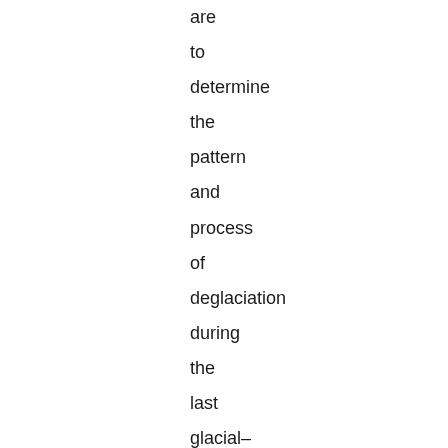are to determine the pattern and process of deglaciation during the last glacial–interglacial transition, and to provide a firm geomorphological basis